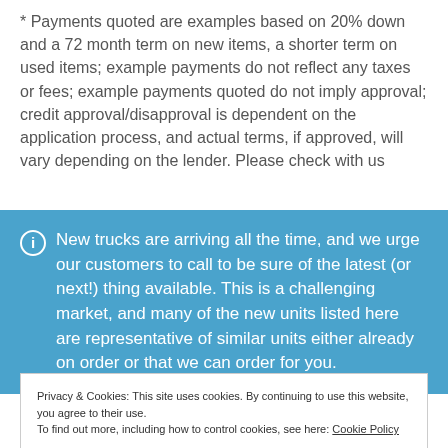* Payments quoted are examples based on 20% down and a 72 month term on new items, a shorter term on used items; example payments do not reflect any taxes or fees; example payments quoted do not imply approval; credit approval/disapproval is dependent on the application process, and actual terms, if approved, will vary depending on the lender. Please check with us…
New trucks are arriving all the time, and we urge our customers to call to be sure of the latest (or next!) thing available. This is a challenging market, and many of the new units listed here are representative of similar units either already on order or that we can order for you.
Privacy & Cookies: This site uses cookies. By continuing to use this website, you agree to their use.
To find out more, including how to control cookies, see here: Cookie Policy
Close and accept